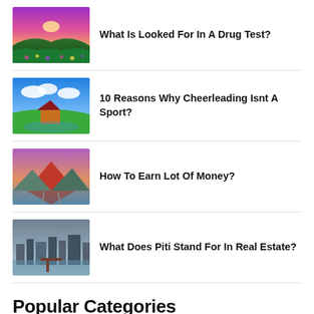What Is Looked For In A Drug Test?
10 Reasons Why Cheerleading Isnt A Sport?
How To Earn Lot Of Money?
What Does Piti Stand For In Real Estate?
Popular Categories
Education
FAQ